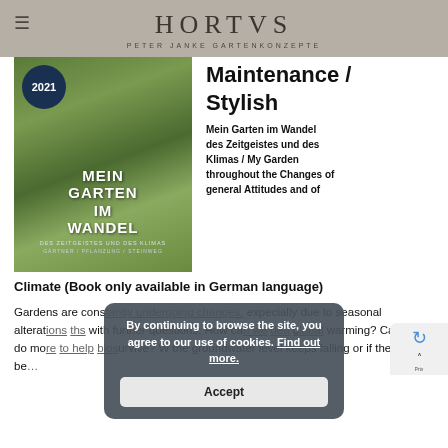HORTUS
PETER JANKE GARTENKONZEPTE
[Figure (photo): Book cover of 'Mein Garten im Wandel des Zeitgeistes und des Klimas' 2021, showing a garden with ornamental grasses and chairs]
Maintenance / Stylish
Mein Garten im Wandel des Zeitgeistes und des Klimas / My Garden throughout the Changes of general Attitudes and of Climate (Book only available in German language)
Gardens are constantly undergoing changes, expecially due to seasonal alterations with further questions: How can we deal with the growing global warming? Can we do more to help biodiversity survive? Whether the groundwater level keeps falling or if there will be